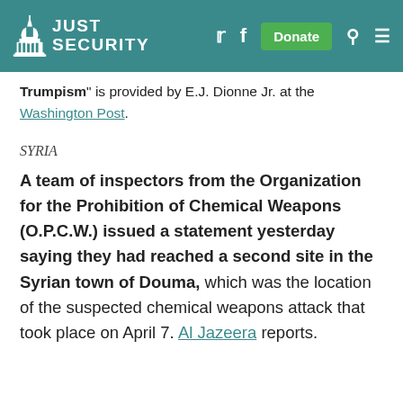Just Security
"Trumpism" is provided by E.J. Dionne Jr. at the Washington Post.
SYRIA
A team of inspectors from the Organization for the Prohibition of Chemical Weapons (O.P.C.W.) issued a statement yesterday saying they had reached a second site in the Syrian town of Douma, which was the location of the suspected chemical weapons attack that took place on April 7. Al Jazeera reports.